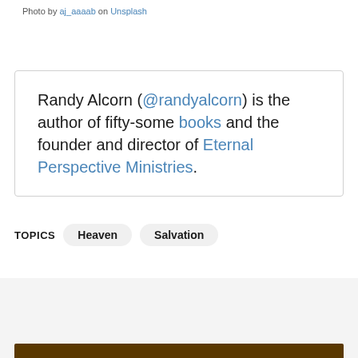Photo by aj_aaaab on Unsplash
Randy Alcorn (@randyalcorn) is the author of fifty-some books and the founder and director of Eternal Perspective Ministries.
TOPICS  Heaven  Salvation
[Figure (photo): Dark brownish-orange image appearing at the bottom of the page, partially visible]